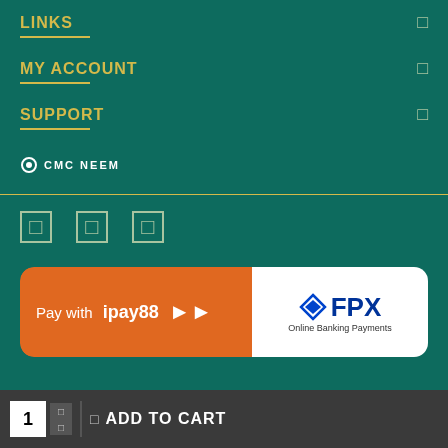LINKS
MY ACCOUNT
SUPPORT
[Figure (logo): CMC NEEM logo — small circle icon with white text CMC NEEM on teal background]
[Figure (infographic): Social media icons — three square outline icons (Facebook, Twitter, Instagram style) in muted green color]
[Figure (infographic): Payment banner: iPay88 logo on orange left side with arrow, FPX Online Banking Payments logo on white right side]
1
ADD TO CART